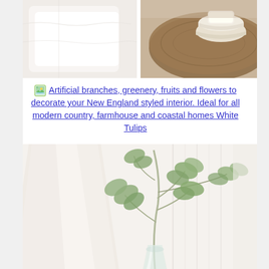[Figure (photo): Interior home decor photo showing white sofa/bedding on left and a round wooden side table with stacked white/stone bowls on right, neutral tones]
Artificial branches, greenery, fruits and flowers to decorate your New England styled interior. Ideal for all modern country, farmhouse and coastal homes White Tulips
[Figure (photo): Interior photo showing a white lamp shade on the left and green eucalyptus branches in a glass vase on the right, bright airy background]